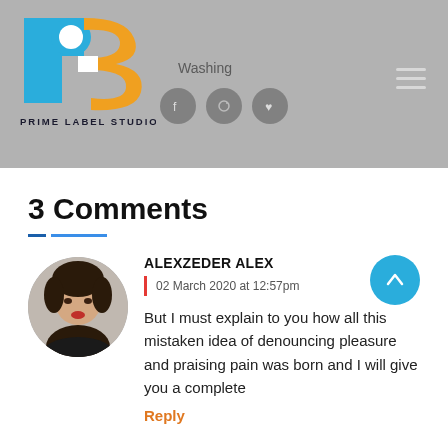[Figure (logo): Prime Label Studios logo with blue P and orange S letters, with text PRIME LABEL STUDIOS below]
Washing
3 Comments
ALEXZEDER ALEX
02 March 2020 at 12:57pm
But I must explain to you how all this mistaken idea of denouncing pleasure and praising pain was born and I will give you a complete
Reply